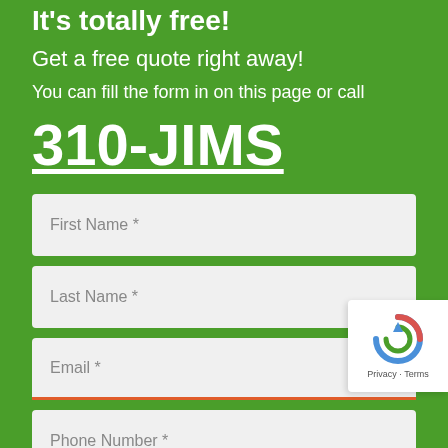It's totally free!
Get a free quote right away!
You can fill the form in on this page or call
310-JIMS
First Name *
Last Name *
Email *
Phone Number *